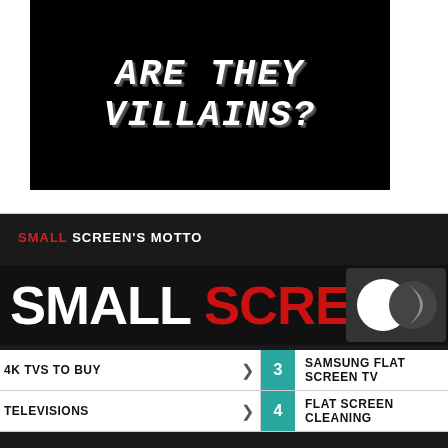[Figure (screenshot): Black background image with horror-style white dripping text reading 'ARE THEY VILLAINS?']
[Figure (screenshot): Small Screen website banner with dark background. Text reads 'SMALL SCREEN'S MOTTO' and 'SMALL SCREEN' logo in white and red. Moon/circle icon visible on right side.]
4K TVS TO BUY  > | 3 | SAMSUNG FLAT SCREEN TV
TELEVISIONS  > | 4 | FLAT SCREEN CLEANING